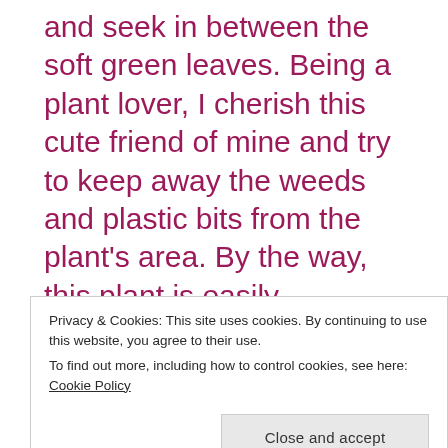and seek in between the soft green leaves. Being a plant lover, I cherish this cute friend of mine and try to keep away the weeds and plastic bits from the plant's area. By the way, this plant is easily accessible to passers by as the house faces the busy high street. My love and reverence to this plant is so much that I stricty forbid myself from plucking even a single rose to decorate the Gods. On a Friday evening around 5pm or so, I was watching
Privacy & Cookies: This site uses cookies. By continuing to use this website, you agree to their use. To find out more, including how to control cookies, see here: Cookie Policy
colour.